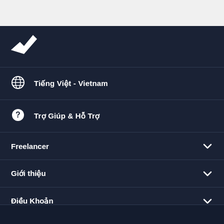[Figure (logo): Freelancer logo - white bird/arrow icon on dark navy background]
Tiếng Việt - Vietnam
Trợ Giúp & Hỗ Trợ
Freelancer
Giới thiệu
Điều Khoản